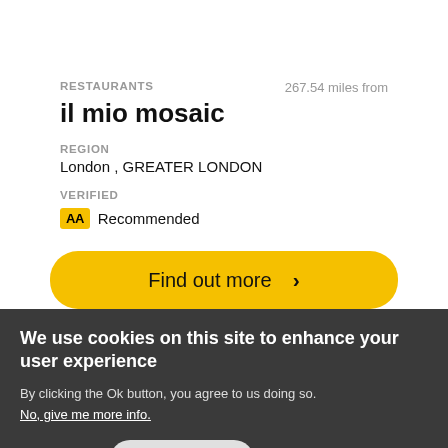RESTAURANTS
267.54 miles from
il mio mosaic
REGION
London , GREATER LONDON
VERIFIED
AA Recommended
Find out more ›
We use cookies on this site to enhance your user experience
By clicking the Ok button, you agree to us doing so.
No, give me more info.
No, thanks
OK, I agree